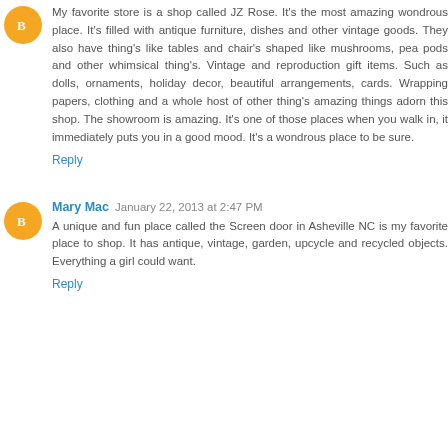[Figure (illustration): Orange circular avatar with white blogger 'B' icon]
My favorite store is a shop called JZ Rose. It's the most amazing wondrous place. It's filled with antique furniture, dishes and other vintage goods. They also have thing's like tables and chair's shaped like mushrooms, pea pods and other whimsical thing's. Vintage and reproduction gift items. Such as dolls, ornaments, holiday decor, beautiful arrangements, cards. Wrapping papers, clothing and a whole host of other thing's amazing things adorn this shop. The showroom is amazing. It's one of those places when you walk in, it immediately puts you in a good mood. It's a wondrous place to be sure.
Reply
[Figure (illustration): Orange circular avatar with white blogger 'B' icon]
Mary Mac  January 22, 2013 at 2:47 PM
A unique and fun place called the Screen door in Asheville NC is my favorite place to shop. It has antique, vintage, garden, upcycle and recycled objects. Everything a girl could want.
Reply